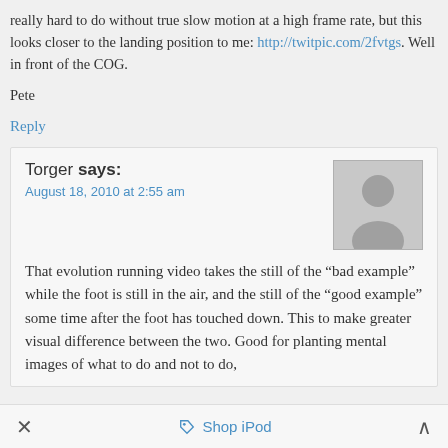really hard to do without true slow motion at a high frame rate, but this looks closer to the landing position to me: http://twitpic.com/2fvtgs. Well in front of the COG.
Pete
Reply
Torger says:
August 18, 2010 at 2:55 am
That evolution running video takes the still of the “bad example” while the foot is still in the air, and the still of the “good example” some time after the foot has touched down. This to make greater visual difference between the two. Good for planting mental images of what to do and not to do,
Shop iPod